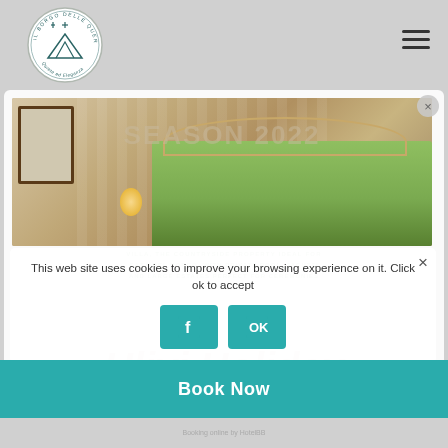[Figure (logo): Il Borgo delle Querce circular logo with stylized building/arch design and text 'Quieis ed Eleganza']
[Figure (photo): Hotel bedroom interior with green bedding, iron headboard, window with wooden frame, warm lamp light]
SEASON 2022
This web site uses cookies to improve your browsing experience on it. Click ok to accept
Ulivi Holiday
Book Now
Booking online by HotelBB